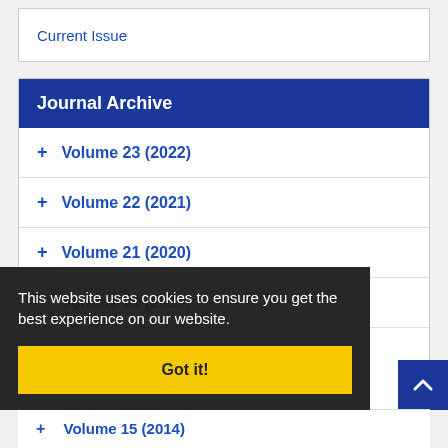Current Issue
Journal Archive
+ Volume 23 (2022)
+ Volume 22 (2021)
+ Volume 21 (2020)
+ Volume 20 (2019)
+ Volume 19 (2018)
+ Volume 15 (2014)
This website uses cookies to ensure you get the best experience on our website.
Got it!